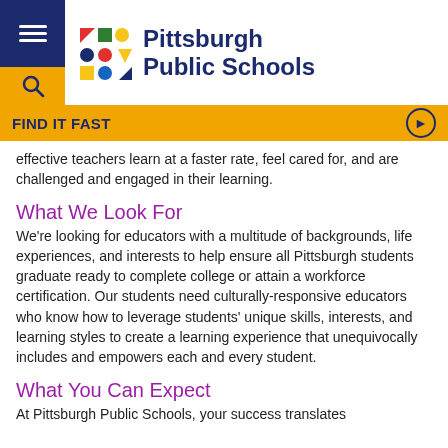[Figure (logo): Pittsburgh Public Schools logo with colorful geometric shapes and bold navy text]
FIND IT FAST
effective teachers learn at a faster rate, feel cared for, and are challenged and engaged in their learning.
What We Look For
We're looking for educators with a multitude of backgrounds, life experiences, and interests to help ensure all Pittsburgh students graduate ready to complete college or attain a workforce certification. Our students need culturally-responsive educators who know how to leverage students' unique skills, interests, and learning styles to create a learning experience that unequivocally includes and empowers each and every student.
What You Can Expect
At Pittsburgh Public Schools, your success translates